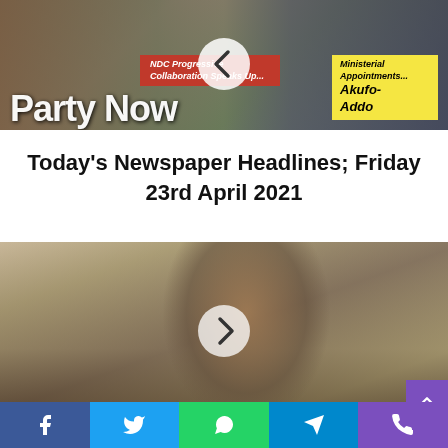[Figure (photo): Newspaper front page collage showing two politicians and a red banner reading 'NDC Progressive Collaboration Speaks Up...' with text 'Party Now' and a yellow banner 'Ministerial Appointments... Akufo-Addo'. A left-pointing navigation arrow is overlaid.]
Today's Newspaper Headlines; Friday 23rd April 2021
[Figure (photo): Elderly man playing a guitar, shirtless, wearing glasses, with a white beard. A right-pointing navigation arrow is overlaid on the image.]
Respect For Women Has Made Me Live Long –